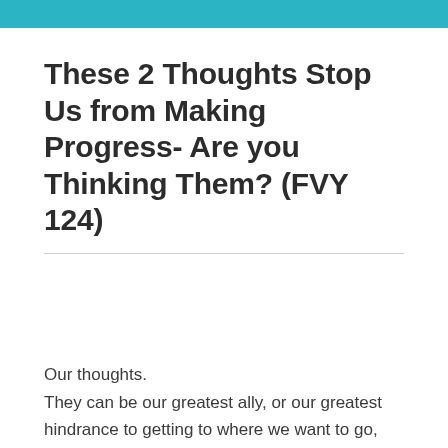[Figure (other): Teal/cyan decorative header bar at top of page]
These 2 Thoughts Stop Us from Making Progress- Are you Thinking Them? (FVY 124)
Our thoughts.
They can be our greatest ally, or our greatest hindrance to getting to where we want to go, being that person we want to be, getting the